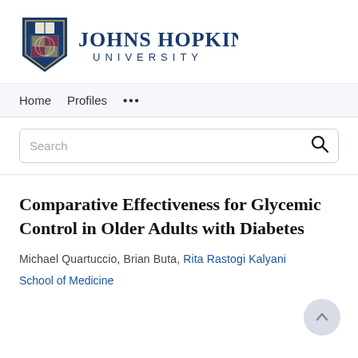[Figure (logo): Johns Hopkins University logo with shield and text 'JOHNS HOPKINS UNIVERSITY']
Home   Profiles   ...
Search
Comparative Effectiveness for Glycemic Control in Older Adults with Diabetes
Michael Quartuccio, Brian Buta, Rita Rastogi Kalyani
School of Medicine